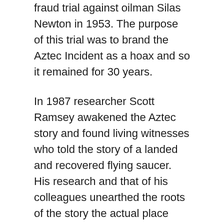fraud trial against oilman Silas Newton in 1953. The purpose of this trial was to brand the Aztec Incident as a hoax and so it remained for 30 years.
In 1987 researcher Scott Ramsey awakened the Aztec story and found living witnesses who told the story of a landed and recovered flying saucer. His research and that of his colleagues unearthed the roots of the story the actual place where the craft or disc landed and physical evidence at that place.
Then In March 2015 Scott and Suzanne who were actively re-investigating the Aztec UFO incident met with Archeleta's granddaughter